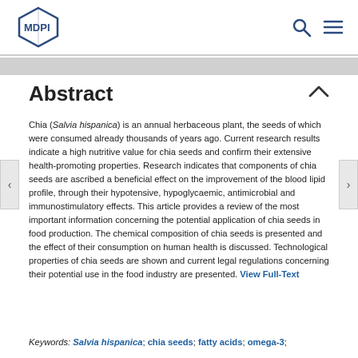MDPI
Abstract
Chia (Salvia hispanica) is an annual herbaceous plant, the seeds of which were consumed already thousands of years ago. Current research results indicate a high nutritive value for chia seeds and confirm their extensive health-promoting properties. Research indicates that components of chia seeds are ascribed a beneficial effect on the improvement of the blood lipid profile, through their hypotensive, hypoglycaemic, antimicrobial and immunostimulatory effects. This article provides a review of the most important information concerning the potential application of chia seeds in food production. The chemical composition of chia seeds is presented and the effect of their consumption on human health is discussed. Technological properties of chia seeds are shown and current legal regulations concerning their potential use in the food industry are presented. View Full-Text
Keywords: Salvia hispanica; chia seeds; fatty acids; omega-3;